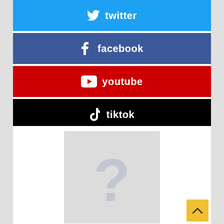[Figure (infographic): Four social media buttons stacked vertically: Twitter (blue), Facebook (dark blue), YouTube (red), TikTok (black), each with icon and platform name in white text]
[Figure (photo): Gray placeholder image with a large question mark symbol indicating missing author photo]
Pretty Boy
See author's posts
[Figure (other): Yellow back-to-top button with upward chevron arrow]